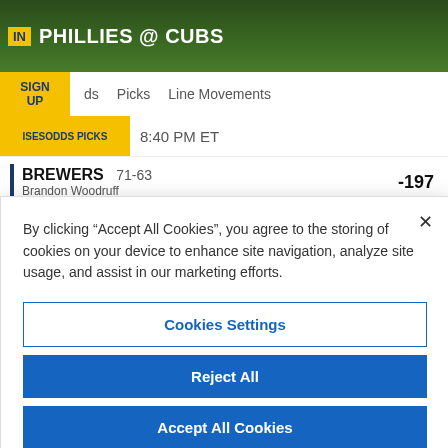IN PHILLIES @ CUBS
SIGN UP | ds | Picks | Line Movements
ISESODDS PICKS 8:40 PM ET
BREWERS 71-63 -197
Brandon Woodruff
By clicking "Accept All Cookies", you agree to the storing of cookies on your device to enhance site navigation, analyze site usage, and assist in our marketing efforts.
Cookies Settings
Reject All
Accept All Cookies